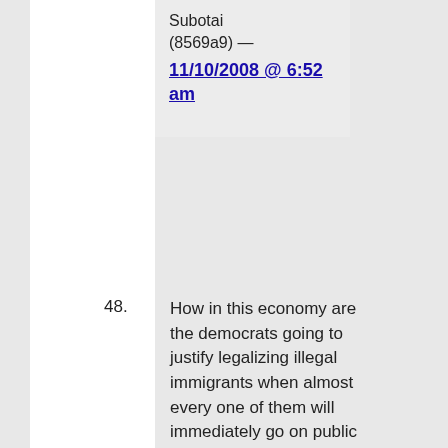Subotai (8569a9) — 11/10/2008 @ 6:52 am
48. How in this economy are the democrats going to justify legalizing illegal immigrants when almost every one of them will immediately go on public assistance or most certainly fall in the bottom 40% of people who